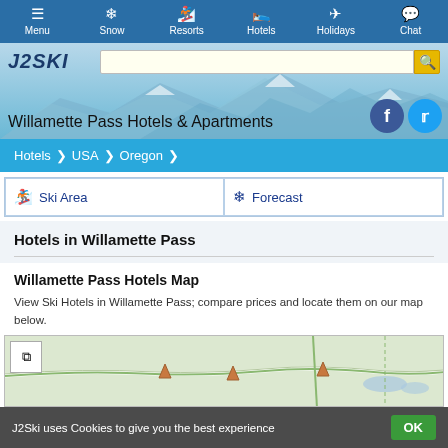Menu | Snow | Resorts | Hotels | Holidays | Chat
[Figure (screenshot): J2Ski website header with logo, search bar, mountain background photo, social icons (Facebook, Twitter), and title 'Willamette Pass Hotels & Apartments']
Hotels > USA > Oregon
✈ Ski Area | ❄ Forecast
Hotels in Willamette Pass
Willamette Pass Hotels Map
View Ski Hotels in Willamette Pass; compare prices and locate them on our map below.
[Figure (map): Map of Willamette Pass area showing roads and terrain]
J2Ski uses Cookies to give you the best experience  OK